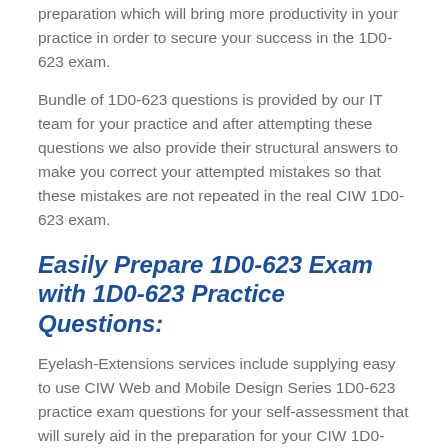preparation which will bring more productivity in your practice in order to secure your success in the 1D0-623 exam.
Bundle of 1D0-623 questions is provided by our IT team for your practice and after attempting these questions we also provide their structural answers to make you correct your attempted mistakes so that these mistakes are not repeated in the real CIW 1D0-623 exam.
Easily Prepare 1D0-623 Exam with 1D0-623 Practice Questions:
Eyelash-Extensions services include supplying easy to use CIW Web and Mobile Design Series 1D0-623 practice exam questions for your self-assessment that will surely aid in the preparation for your CIW 1D0-623 exam. It is highly recommended that you practice using our 1D0-623 exam questions for the betterment of your results.